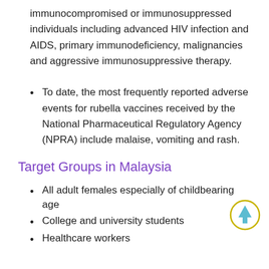immunocompromised or immunosuppressed individuals including advanced HIV infection and AIDS, primary immunodeficiency, malignancies and aggressive immunosuppressive therapy.
To date, the most frequently reported adverse events for rubella vaccines received by the National Pharmaceutical Regulatory Agency (NPRA) include malaise, vomiting and rash.
Target Groups in Malaysia
All adult females especially of childbearing age
College and university students
Healthcare workers